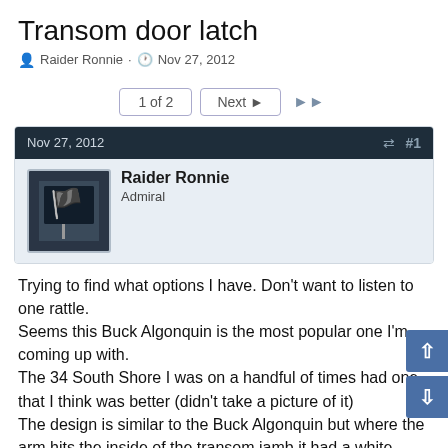Transom door latch
Raider Ronnie · Nov 27, 2012
1 of 2  Next ▶  ▶▶
Nov 27, 2012  #1
Raider Ronnie
Admiral
Trying to find what options I have. Don't want to listen to one rattle.
Seems this Buck Algonquin is the most popular one I'm coming up with.
The 34 South Shore I was on a handful of times had one that I think was better (didn't take a picture of it)
The design is similar to the Buck Algonquin but where the arm hits the inside of the transom jamb it had a white nylon roller and tightened more the more you moved the lever.